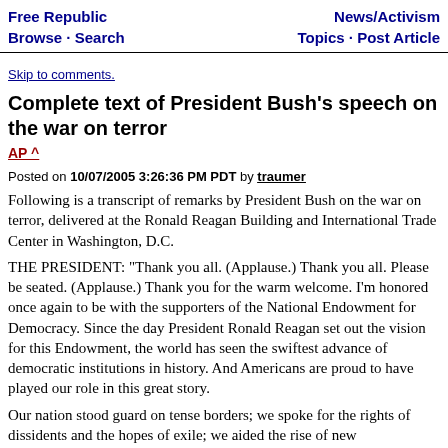Free Republic Browse · Search | News/Activism Topics · Post Article
Skip to comments.
Complete text of President Bush's speech on the war on terror
AP ^
Posted on 10/07/2005 3:26:36 PM PDT by traumer
Following is a transcript of remarks by President Bush on the war on terror, delivered at the Ronald Reagan Building and International Trade Center in Washington, D.C.
THE PRESIDENT: "Thank you all. (Applause.) Thank you all. Please be seated. (Applause.) Thank you for the warm welcome. I'm honored once again to be with the supporters of the National Endowment for Democracy. Since the day President Ronald Reagan set out the vision for this Endowment, the world has seen the swiftest advance of democratic institutions in history. And Americans are proud to have played our role in this great story.
Our nation stood guard on tense borders; we spoke for the rights of dissidents and the hopes of exile; we aided the rise of new